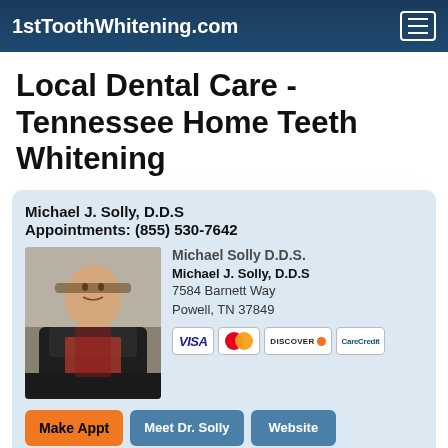1stToothWhitening.com
Local Dental Care - Tennessee Home Teeth Whitening
Michael J. Solly, D.D.S
Appointments: (855) 530-7642
Michael Solly D.D.S.
Michael J. Solly, D.D.S
7584 Barnett Way
Powell, TN 37849
[Figure (photo): Headshot of Dr. Michael J. Solly, a middle-aged man in a suit with glasses, smiling]
Make Appt   Meet Dr. Solly   Website
more info ...